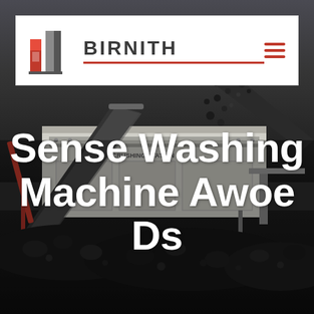[Figure (photo): Industrial crushing station machine with conveyor belts processing black rock/coal material, photographed at a mining or quarry site. Dark moody background with machinery and scattered rock debris.]
BIRNITH
Sense Washing Machine Awoe Ds